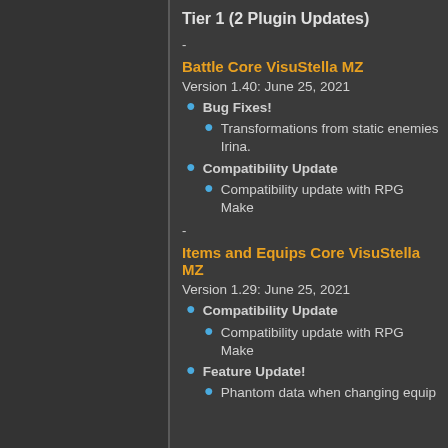Tier 1 (2 Plugin Updates)
-
Battle Core VisuStella MZ
Version 1.40: June 25, 2021
Bug Fixes!
Transformations from static enemies... Irina.
Compatibility Update
Compatibility update with RPG Make...
-
Items and Equips Core VisuStella MZ
Version 1.29: June 25, 2021
Compatibility Update
Compatibility update with RPG Make...
Feature Update!
Phantom data when changing equip...